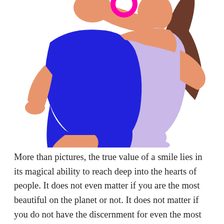[Figure (illustration): Flat vector illustration of two women hugging. One wears a bright blue outfit and has skin-toned arms wrapped around the other. The second woman wears a lavender/light purple outfit and has long brown hair in a ponytail. A magenta/pink circular shape (possibly a phone or accessory) is visible near the top. Both figures are rendered in bold flat-design style against a white background.]
More than pictures, the true value of a smile lies in its magical ability to reach deep into the hearts of people. It does not even matter if you are the most beautiful on the planet or not. It does not matter if you do not have the discernment for even the most double facial...